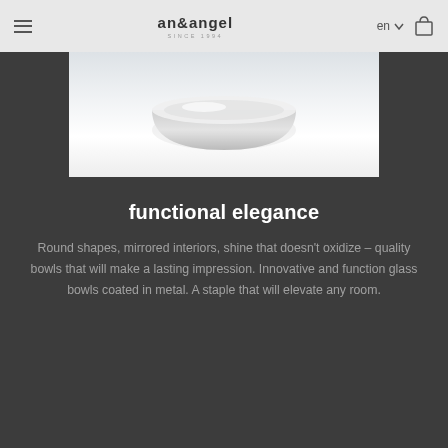an&angel — navigation bar with hamburger menu, logo, language selector (en), and cart icon
[Figure (photo): Product photo of a white/silver glass bowl coated in metal, shown against a light gradient background within a dark page layout]
functional elegance
Round shapes, mirrored interiors, shine that doesn't oxidize – quality bowls that will make a lasting impression. Innovative and function glass bowls coated in metal. A staple that will elevate any room.